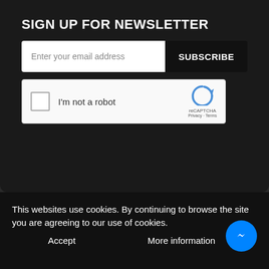SIGN UP FOR NEWSLETTER
Enter your email address
SUBSCRIBE
[Figure (screenshot): reCAPTCHA widget with checkbox labeled 'I'm not a robot' and reCAPTCHA logo with Privacy - Terms links]
TurboKits.com © 2022 All rights reserved.Turbokits.com
[Figure (infographic): Payment method logos: American Express, MasterCard, Visa, PayPal, Discover Network]
This websites use cookies. By continuing to browse the site you are agreeing to our use of cookies.
Accept
More information